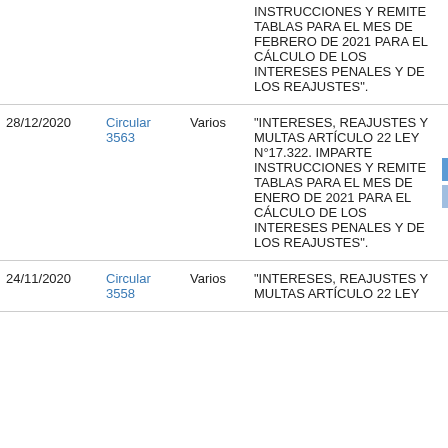| Fecha | Tipo | Destinatario | Materia |  |
| --- | --- | --- | --- | --- |
|  |  |  | INSTRUCCIONES Y REMITE TABLAS PARA EL MES DE FEBRERO DE 2021 PARA EL CÁLCULO DE LOS INTERESES PENALES Y DE LOS REAJUSTES". |  |
| 28/12/2020 | Circular 3563 | Varios | "INTERESES, REAJUSTES Y MULTAS ARTÍCULO 22 LEY N°17.322. IMPARTE INSTRUCCIONES Y REMITE TABLAS PARA EL MES DE ENERO DE 2021 PARA EL CÁLCULO DE LOS INTERESES PENALES Y DE LOS REAJUSTES". | +a / -a |
| 24/11/2020 | Circular 3558 | Varios | "INTERESES, REAJUSTES Y MULTAS ARTÍCULO 22 LEY |  |